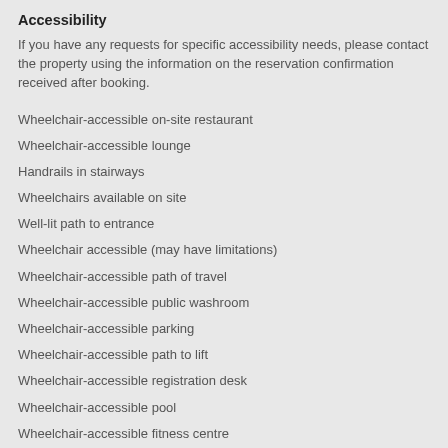Accessibility
If you have any requests for specific accessibility needs, please contact the property using the information on the reservation confirmation received after booking.
Wheelchair-accessible on-site restaurant
Wheelchair-accessible lounge
Handrails in stairways
Wheelchairs available on site
Well-lit path to entrance
Wheelchair accessible (may have limitations)
Wheelchair-accessible path of travel
Wheelchair-accessible public washroom
Wheelchair-accessible parking
Wheelchair-accessible path to lift
Wheelchair-accessible registration desk
Wheelchair-accessible pool
Wheelchair-accessible fitness centre
Wheelchair-accessible meeting spaces/business centre